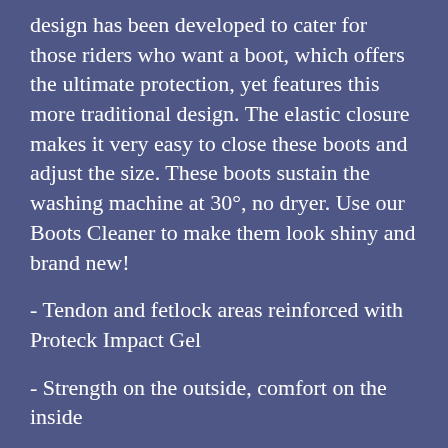design has been developed to cater for those riders who want a boot, which offers the ultimate protection, yet features this more traditional design. The elastic closure makes it very easy to close these boots and adjust the size. These boots sustain the washing machine at 30°, no dryer. Use our Boots Cleaner to make them look shiny and brand new!
- Tendon and fetlock areas reinforced with Proteck Impact Gel
- Strength on the outside, comfort on the inside
- Top rated in impact tests
- Ventilation system for cool performance
*Proteck Impact Gel is a light and clever material that locks